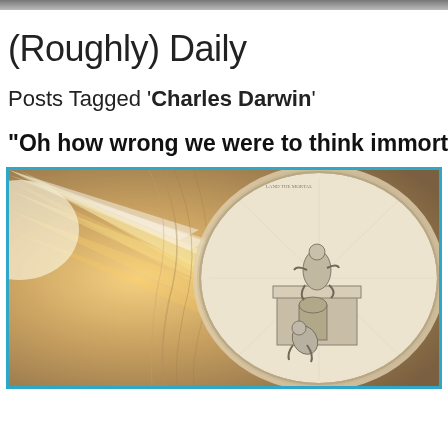(Roughly) Daily
Posts Tagged 'Charles Darwin'
“Oh how wrong we were to think immortality m…
[Figure (illustration): A composite image with warm golden light rays on the left side and a sepia-toned classical engraving in an oval frame on the right, showing two figures — one seated on a pedestal and one crouching below, in a style reminiscent of William Blake.]